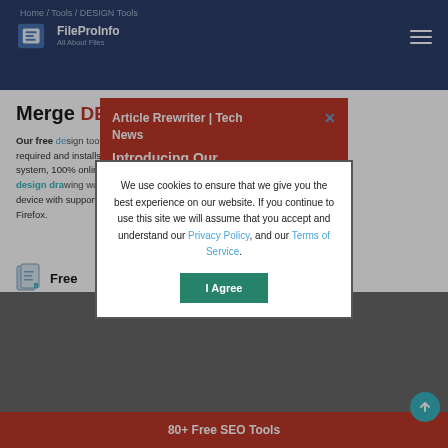Home / Tools / DESIGN Tools
[Figure (logo): FileProInfo logo with document icon and text 'All About Files']
Merge [DESIGN to DESIGN]
Our free de[sign tool] [is] not required a[nd installs on] your system, 100[%] [online se]ssion design dra[wing works fr]om any device with[ support for Op]era and Firefox.
Free [Online Merge Tool]
[Figure (screenshot): Red popup notification: Article Rrewriter | Tech News — Introducing Our — with X close button]
We use cookies to ensure that we give you the best experience on our website. If you continue to use this site we will assume that you accept and understand our Privacy Policy, and our Terms of Service.
[Figure (other): I Agree green button in cookie consent modal]
80+ Free SEO Tools